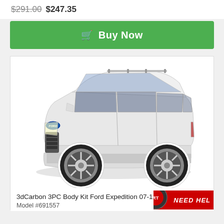$291.00 $247.35
Buy Now
[Figure (photo): White Ford Expedition SUV with chrome wheels on white background, product photo for 3dCarbon 3PC Body Kit Ford Expedition 07-1]
3dCarbon 3PC Body Kit Ford Expedition 07-1
Model #691557
[Figure (logo): Need Help badge with red background and logo circle on bottom right corner]